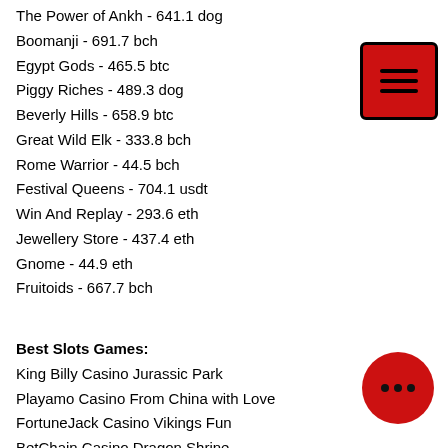The Power of Ankh - 641.1 dog
Boomanji - 691.7 bch
Egypt Gods - 465.5 btc
Piggy Riches - 489.3 dog
Beverly Hills - 658.9 btc
Great Wild Elk - 333.8 bch
Rome Warrior - 44.5 bch
Festival Queens - 704.1 usdt
Win And Replay - 293.6 eth
Jewellery Store - 437.4 eth
Gnome - 44.9 eth
Fruitoids - 667.7 bch
Best Slots Games:
King Billy Casino Jurassic Park
Playamo Casino From China with Love
FortuneJack Casino Vikings Fun
BetChain Casino Dragon Shrine
https://www.kaitsbookboulevard.com/p enriquecools417031/profile